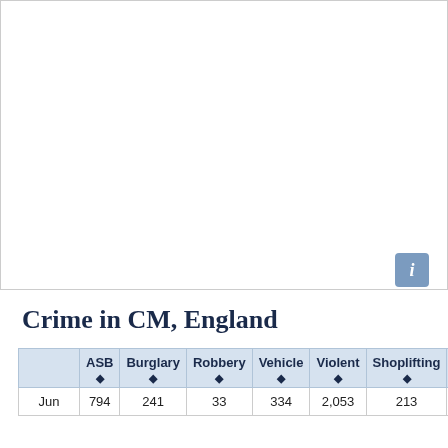[Figure (map): Map area showing CM, England region — blank/white map placeholder with info button]
Crime in CM, England
|  | ASB | Burglary | Robbery | Vehicle | Violent | Shoplifting | CD&A |
| --- | --- | --- | --- | --- | --- | --- | --- |
| Jun | 794 | 241 | 33 | 334 | 2,053 | 213 | 41? |